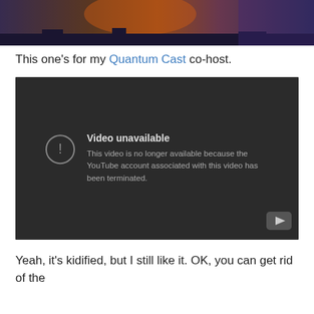[Figure (photo): Top portion of an image showing a dark scene with orange/purple lighting, partially cropped at top of page]
This one's for my Quantum Cast co-host.
[Figure (screenshot): YouTube video embed showing 'Video unavailable' error message: 'This video is no longer available because the YouTube account associated with this video has been terminated.']
Yeah, it's kidified, but I still like it. OK, you can get rid of the